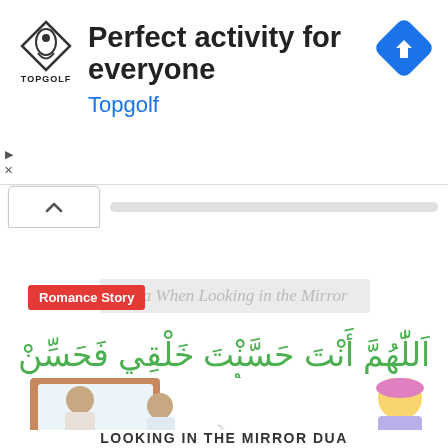[Figure (screenshot): Topgolf advertisement banner with shield logo, text 'Perfect activity for everyone', 'Topgolf' in blue, and a blue diamond navigation arrow icon on the right]
[Figure (screenshot): Browser UI element: chevron/up arrow button tab and a grey horizontal bar]
Romance Story
Dua When Looking in the Mirror
اَللّٰهُمَّ أَنْتَ حَسَّنْتَ خَلْقِي فَحَسِّنْ خُلُقِي
O Allah Azzawajal as you made my outward appearance good make my character good too
[Figure (illustration): Cartoon illustration of two children looking into a mirror on the left, and a cartoon girl with blonde hair and purple headband on the right, with text 'LOOKING IN THE MIRROR DUA' at the bottom]